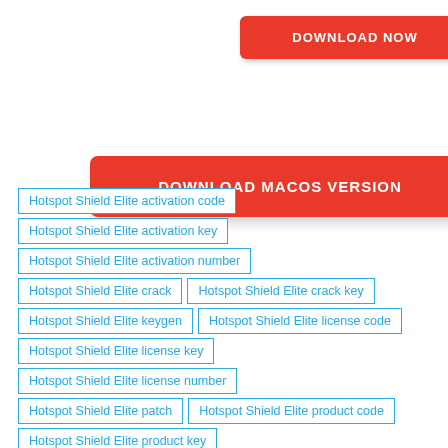[Figure (other): Red download button labeled DOWNLOAD NOW]
[Figure (other): Red download button labeled DOWNLOAD MACOS VERSION]
Hotspot Shield Elite activation code
Hotspot Shield Elite activation key
Hotspot Shield Elite activation number
Hotspot Shield Elite crack
Hotspot Shield Elite crack key
Hotspot Shield Elite keygen
Hotspot Shield Elite license code
Hotspot Shield Elite license key
Hotspot Shield Elite license number
Hotspot Shield Elite patch
Hotspot Shield Elite product code
Hotspot Shield Elite product key
Hotspot Shield Elite product number (partial, cut off)